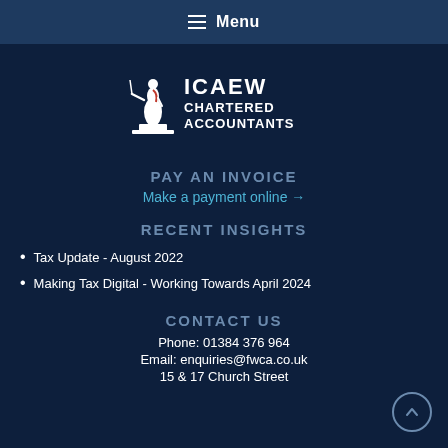Menu
[Figure (logo): ICAEW Chartered Accountants logo with statue figure in white and red]
PAY AN INVOICE
Make a payment online →
RECENT INSIGHTS
Tax Update - August 2022
Making Tax Digital - Working Towards April 2024
CONTACT US
Phone: 01384 376 964
Email: enquiries@fwca.co.uk
15 & 17 Church Street